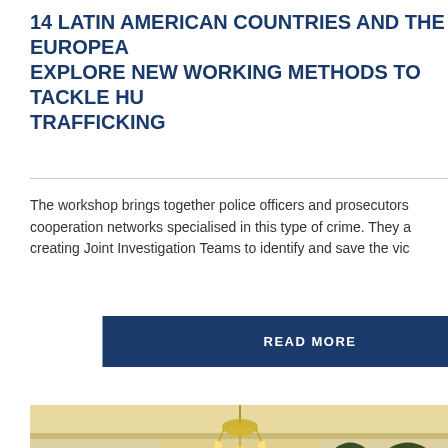14 LATIN AMERICAN COUNTRIES AND THE EUROPEAN UNION EXPLORE NEW WORKING METHODS TO TACKLE HUMAN TRAFFICKING
The workshop brings together police officers and prosecutors from cooperation networks specialised in this type of crime. They are creating Joint Investigation Teams to identify and save the victims.
READ MORE
[Figure (photo): A formal meeting room with ornate arched doorways, a chandelier, flags of Paraguay, and participants seated at a table during a virtual meeting. A screen shows a video conference participant.]